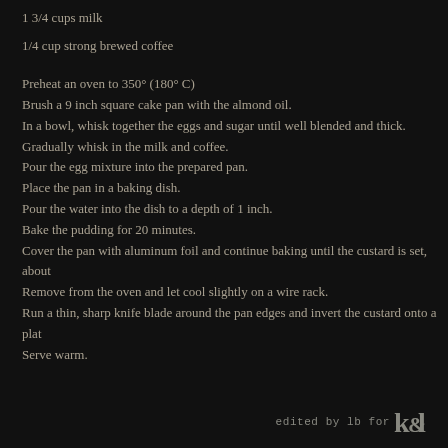1 3/4 cups milk
1/4 cup strong brewed coffee
Preheat an oven to 350° (180° C)
Brush a 9 inch square cake pan with the almond oil.
In a bowl, whisk together the eggs and sugar until well blended and thick.
Gradually whisk in the milk and coffee.
Pour the egg mixture into the prepared pan.
Place the pan in a baking dish.
Pour the water into the dish to a depth of 1 inch.
Bake the pudding for 20 minutes.
Cover the pan with aluminum foil and continue baking until the custard is set, about
Remove from the oven and let cool slightly on a wire rack.
Run a thin, sharp knife blade around the pan edges and invert the custard onto a plat
Serve warm.
edited by lb for k&l